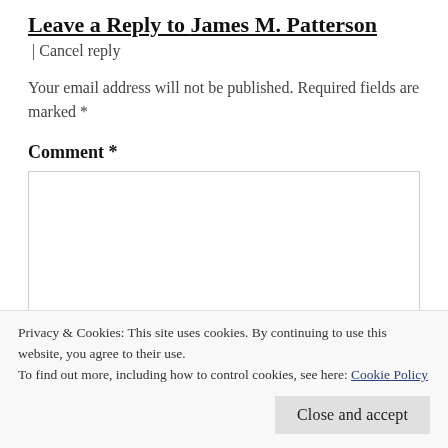Leave a Reply to James M. Patterson
| Cancel reply
Your email address will not be published. Required fields are marked *
Comment *
Privacy & Cookies: This site uses cookies. By continuing to use this website, you agree to their use.
To find out more, including how to control cookies, see here: Cookie Policy